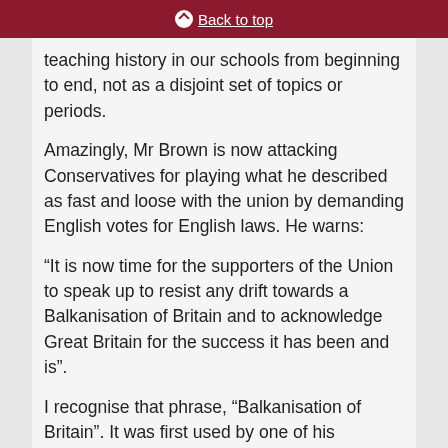Back to top
teaching history in our schools from beginning to end, not as a disjoint set of topics or periods.
Amazingly, Mr Brown is now attacking Conservatives for playing what he described as fast and loose with the union by demanding English votes for English laws. He warns:
“It is now time for the supporters of the Union to speak up to resist any drift towards a Balkanisation of Britain and to acknowledge Great Britain for the success it has been and is”.
I recognise that phrase, “Balkanisation of Britain”. It was first used by one of his ministerial colleagues, Mr Kim Howells. Arguing against devolution for